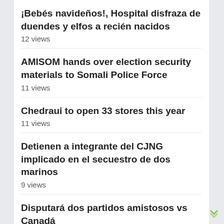¡Bebés navideños!, Hospital disfraza de duendes y elfos a recién nacidos
12 views
AMISOM hands over election security materials to Somali Police Force
11 views
Chedraui to open 33 stores this year
11 views
Detienen a integrante del CJNG implicado en el secuestro de dos marinos
9 views
Disputará dos partidos amistosos vs Canadá